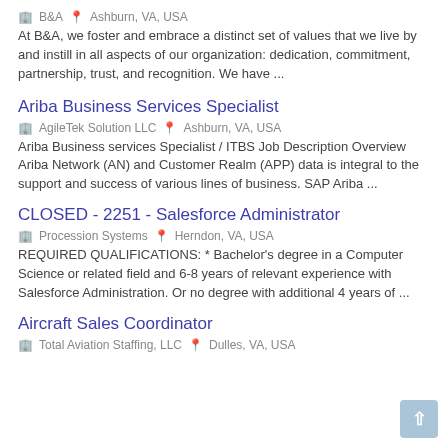🏢 B&A  📍 Ashburn, VA, USA
At B&A, we foster and embrace a distinct set of values that we live by and instill in all aspects of our organization: dedication, commitment, partnership, trust, and recognition. We have ...
Ariba Business Services Specialist
🏢 AgileTek Solution LLC  📍 Ashburn, VA, USA
Ariba Business services Specialist / ITBS Job Description Overview Ariba Network (AN) and Customer Realm (APP) data is integral to the support and success of various lines of business. SAP Ariba ...
CLOSED - 2251 - Salesforce Administrator
🏢 Procession Systems  📍 Herndon, VA, USA
REQUIRED QUALIFICATIONS: * Bachelor's degree in a Computer Science or related field and 6-8 years of relevant experience with Salesforce Administration. Or no degree with additional 4 years of ...
Aircraft Sales Coordinator
🏢 Total Aviation Staffing, LLC  📍 Dulles, VA, USA